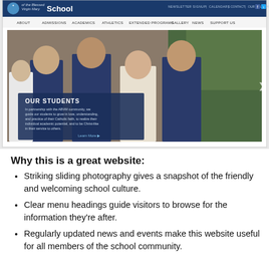[Figure (screenshot): Screenshot of Blessed Virgin Mary School website showing navigation bar with logo, menu items (About, Admissions, Academics, Athletics, Extended Programs, Gallery, News, Support Us), and a hero image of four smiling students in school uniforms with overlay text 'OUR STUDENTS' and description about the ABVM community guiding students in love, understanding, and Catholic faith.]
Why this is a great website:
Striking sliding photography gives a snapshot of the friendly and welcoming school culture.
Clear menu headings guide visitors to browse for the information they're after.
Regularly updated news and events make this website useful for all members of the school community.